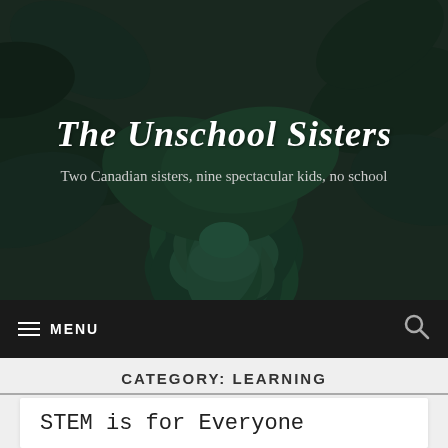The Unschool Sisters
Two Canadian sisters, nine spectacular kids, no school
≡ MENU
CATEGORY: LEARNING
STEM is for Everyone